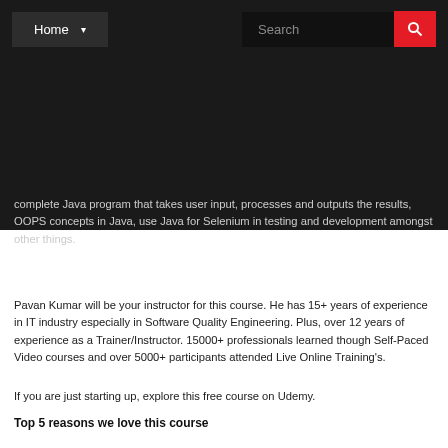Home   Search
complete Java program that takes user input, processes and outputs the results, OOPS concepts in Java, use Java for Selenium in testing and development amongst other things.
Pavan Kumar will be your instructor for this course. He has 15+ years of experience in IT industry especially in Software Quality Engineering. Plus, over 12 years of experience as a Trainer/Instructor. 15000+ professionals learned though Self-Paced Video courses and over 5000+ participants attended Live Online Training's.
If you are just starting up, explore this free course on Udemy.
Top 5 reasons we love this course